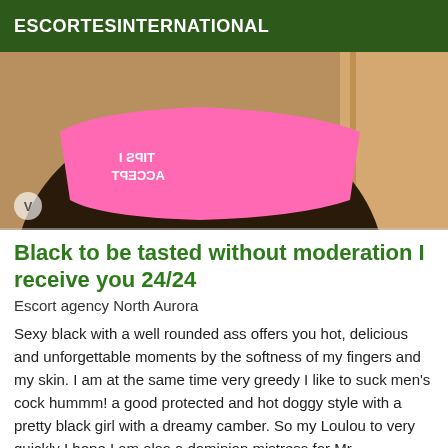ESCORTESINTERNATIONAL
[Figure (photo): Photo of person wearing pink underwear with mirrored text reading 'TIPS I ACCEPT', with watermark 'V' in bottom left]
Black to be tasted without moderation I receive you 24/24
Escort agency North Aurora
Sexy black with a well rounded ass offers you hot, delicious and unforgettable moments by the softness of my fingers and my skin. I am at the same time very greedy I like to suck men's cock hummm! a good protected and hot doggy style with a pretty black girl with a dreamy camber. So my Loulou to very quickly I hope I am also a dominion mistress for Mr. Submissive. I don't answer SMS Please tell me on which city you took the